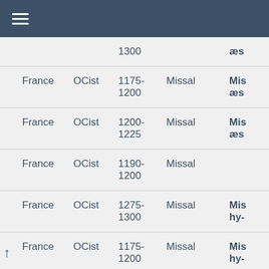≡
|  | Country | Order | Date | Type | Title |
| --- | --- | --- | --- | --- | --- |
|  |  |  | 1300 |  | æs |
|  | France | OCist | 1175-1200 | Missal | Mis æs |
|  | France | OCist | 1200-1225 | Missal | Mis æs |
|  | France | OCist | 1190-1200 | Missal |  |
|  | France | OCist | 1275-1300 | Missal | Mis hy- |
| ↑ | France | OCist | 1175-1200 | Missal | Mis hy- |
|  | France | OCist | 1100-1200 | Antiphonal | An- Cis |